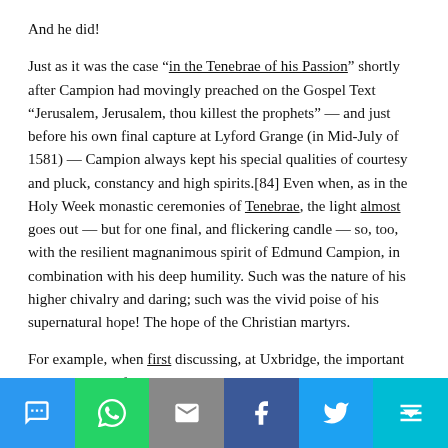And he did!
Just as it was the case "in the Tenebrae of his Passion" shortly after Campion had movingly preached on the Gospel Text "Jerusalem, Jerusalem, thou killest the prophets" — and just before his own final capture at Lyford Grange (in Mid-July of 1581) — Campion always kept his special qualities of courtesy and pluck, constancy and high spirits.[84] Even when, as in the Holy Week monastic ceremonies of Tenebrae, the light almost goes out — but for one final, and flickering candle — so, too, with the resilient magnanimous spirit of Edmund Campion, in combination with his deep humility. Such was the nature of his higher chivalry and daring; such was the vivid poise of his supernatural hope! The hope of the Christian martyrs.
For example, when first discussing, at Uxbridge, the important text which was finally to be called the Ten Reasons [i.e., the Decem Rationes, in Defense of the Catholic Faith],
Campion had proposed [as a title] De Haeresi Desperata —